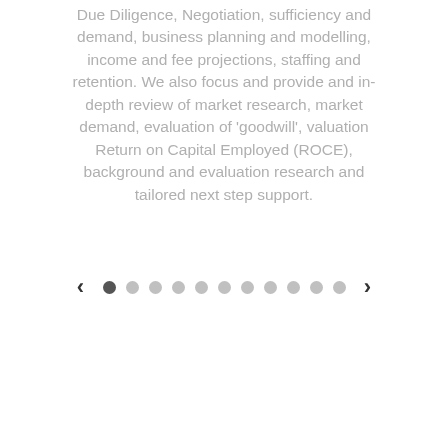Due Diligence, Negotiation, sufficiency and demand, business planning and modelling, income and fee projections, staffing and retention. We also focus and provide and in-depth review of market research, market demand, evaluation of 'goodwill', valuation Return on Capital Employed (ROCE), background and evaluation research and tailored next step support.
[Figure (other): Pagination control with left arrow, 11 dots (first dot active/dark, rest light grey), and right arrow]